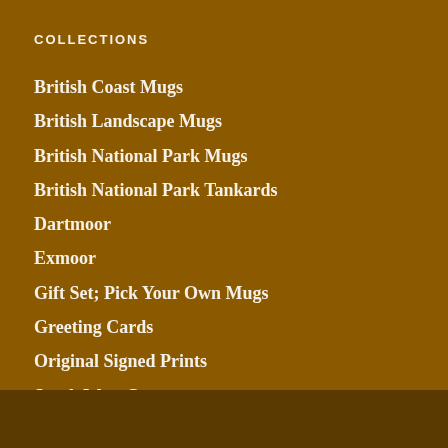COLLECTIONS
British Coast Mugs
British Landscape Mugs
British National Park Mugs
British National Park Tankards
Dartmoor
Exmoor
Gift Set; Pick Your Own Mugs
Greeting Cards
Original Signed Prints
South West Coast
Tea Towels